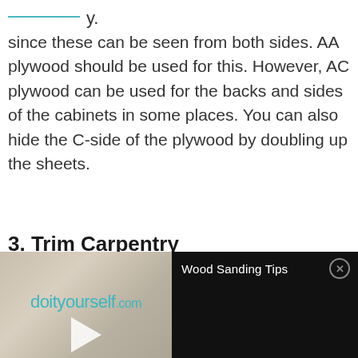since these can be seen from both sides. AA plywood should be used for this. However, AC plywood can be used for the backs and sides of the cabinets in some places. You can also hide the C-side of the plywood by doubling up the sheets.
3. Trim Carpentry
[Figure (screenshot): A video player overlay showing a doityourself.com branded video thumbnail on the left with a play button, and on the right a dark panel with the title 'Wood Sanding Tips' and a close button.]